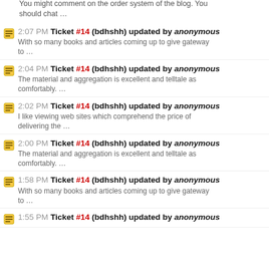You might comment on the order system of the blog. You should chat …
2:07 PM Ticket #14 (bdhshh) updated by anonymous — With so many books and articles coming up to give gateway to …
2:04 PM Ticket #14 (bdhshh) updated by anonymous — The material and aggregation is excellent and telltale as comfortably. …
2:02 PM Ticket #14 (bdhshh) updated by anonymous — I like viewing web sites which comprehend the price of delivering the …
2:00 PM Ticket #14 (bdhshh) updated by anonymous — The material and aggregation is excellent and telltale as comfortably. …
1:58 PM Ticket #14 (bdhshh) updated by anonymous — With so many books and articles coming up to give gateway to …
1:55 PM Ticket #14 (bdhshh) updated by anonymous